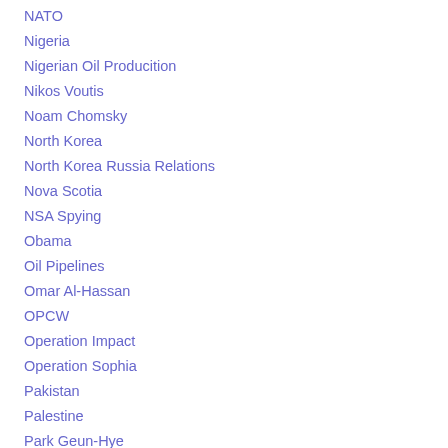NATO
Nigeria
Nigerian Oil Producition
Nikos Voutis
Noam Chomsky
North Korea
North Korea Russia Relations
Nova Scotia
NSA Spying
Obama
Oil Pipelines
Omar Al-Hassan
OPCW
Operation Impact
Operation Sophia
Pakistan
Palestine
Park Geun-Hye